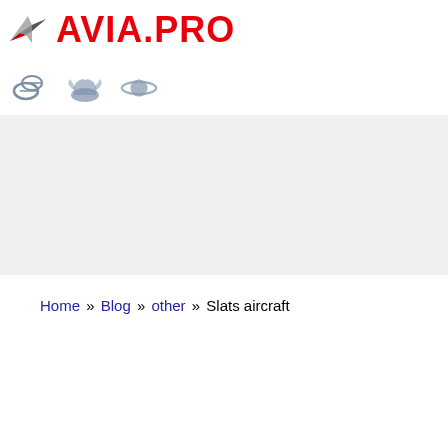[Figure (logo): AVIA.PRO logo with paper airplane icon in grey/red and red bold text AVIA.PRO]
[Figure (infographic): Three navigation icons: pills/capsules icon, winged shoe/Mercury icon, Saturn planet icon, all in muted blue-grey color]
[Figure (other): Light grey advertisement banner area]
Home » Blog » other » Slats aircraft